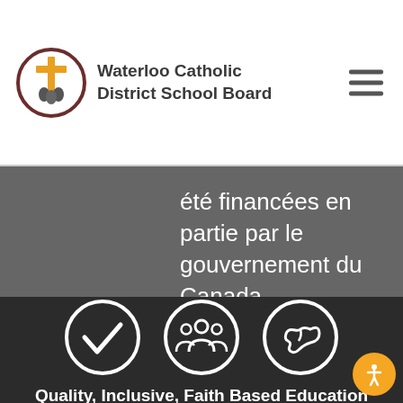[Figure (logo): Waterloo Catholic District School Board logo: circular brown/gold emblem with cross and figures, beside text 'Waterloo Catholic District School Board']
été financées en partie par le gouvernement du Canada.
[Figure (illustration): Three white circular icons on dark background: checkmark, group of people, dove]
Quality, Inclusive, Faith Based Education